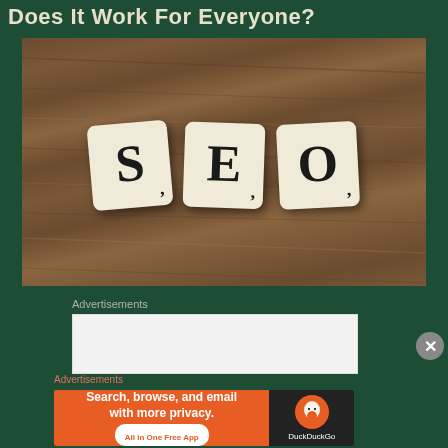Does It Work For Everyone?
[Figure (photo): Three Scrabble tiles spelling S, E, O placed on a wooden surface]
Advertisements
[Figure (other): Advertisement placeholder box]
Advertisements
[Figure (other): DuckDuckGo advertisement banner: Search, browse, and email with more privacy. All in One Free App]